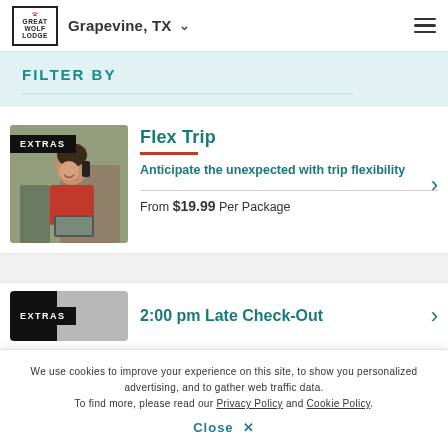Great Wolf Lodge — Grapevine, TX
FILTER BY
[Figure (photo): Woman in red polo shirt talking on phone, smiling, with laptop visible]
Flex Trip
Anticipate the unexpected with trip flexibility
From $19.99 Per Package
2:00 pm Late Check-Out
We use cookies to improve your experience on this site, to show you personalized advertising, and to gather web traffic data. To find more, please read our Privacy Policy and Cookie Policy.
Close